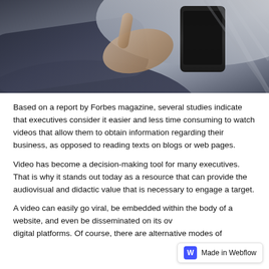[Figure (photo): Close-up photo of a business person in a suit using a tablet/smartphone device, with a striped surface visible in the background]
Based on a report by Forbes magazine, several studies indicate that executives consider it easier and less time consuming to watch videos that allow them to obtain information regarding their business, as opposed to reading texts on blogs or web pages.
Video has become a decision-making tool for many executives. That is why it stands out today as a resource that can provide the audiovisual and didactic value that is necessary to engage a target.
A video can easily go viral, be embedded within the body of a website, and even be disseminated on its own digital platforms. Of course, there are alternative modes of